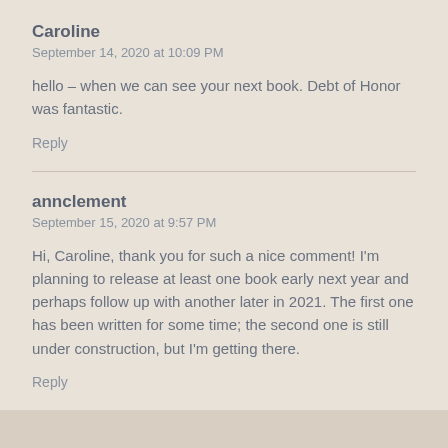Caroline
September 14, 2020 at 10:09 PM
hello – when we can see your next book. Debt of Honor was fantastic.
Reply
annclement
September 15, 2020 at 9:57 PM
Hi, Caroline, thank you for such a nice comment! I'm planning to release at least one book early next year and perhaps follow up with another later in 2021. The first one has been written for some time; the second one is still under construction, but I'm getting there.
Reply